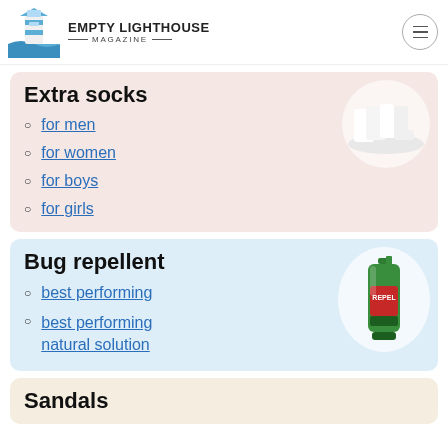EMPTY LIGHTHOUSE MAGAZINE
Extra socks
for men
for women
for boys
for girls
[Figure (photo): White ankle socks on a white background]
Bug repellent
best performing
best performing natural solution
[Figure (photo): A green REPEL bug spray bottle on white circular background]
Sandals